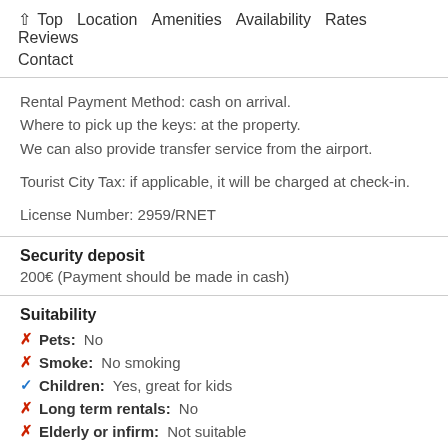↑ Top   Location   Amenities   Availability   Rates   Reviews   Contact
Rental Payment Method: cash on arrival.
Where to pick up the keys: at the property.
We can also provide transfer service from the airport.

Tourist City Tax: if applicable, it will be charged at check-in.

License Number: 2959/RNET
Security deposit
200€ (Payment should be made in cash)
Suitability
✗ Pets: No
✗ Smoke: No smoking
✓ Children: Yes, great for kids
✗ Long term rentals: No
✗ Elderly or infirm: Not suitable